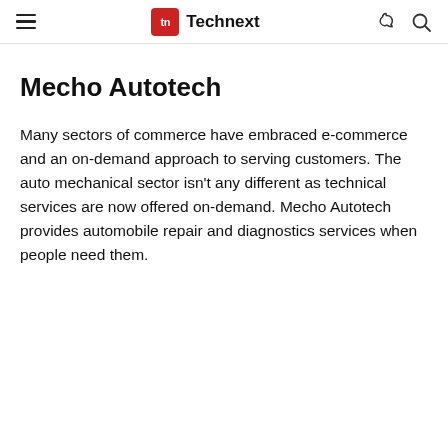Technext
Mecho Autotech
Many sectors of commerce have embraced e-commerce and an on-demand approach to serving customers. The auto mechanical sector isn't any different as technical services are now offered on-demand. Mecho Autotech provides automobile repair and diagnostics services when people need them.